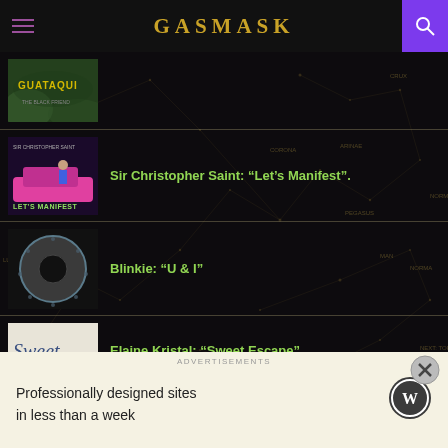GASMASK
[Figure (screenshot): Thumbnail image with text GUATAQUI on dark green background]
[Figure (screenshot): Thumbnail for Let's Manifest by Sir Christopher Saint showing woman on pink car]
Sir Christopher Saint: “Let’s Manifest”.
[Figure (photo): Thumbnail for Blinkie U & I showing dark circular ring/donut object]
Blinkie: “U & I”
[Figure (screenshot): Thumbnail for Sweet Escape by Elaine Kristal with cursive Sweet text]
Elaine Kristal: “Sweet Escape”
Professionally designed sites in less than a week